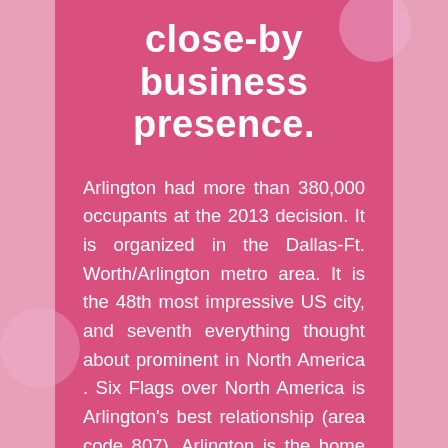close-by business presence.
Arlington had more than 380,000 occupants at the 2013 decision. It is organized in the Dallas-Ft. Worth/Arlington metro area. It is the 48th most impressive US city, and seventh everything thought about prominent in North America . Six Flags over North America is Arlington's best relationship (area code 807). Arlington is the home of the North America Rangers' fit ball club, similar to the University of